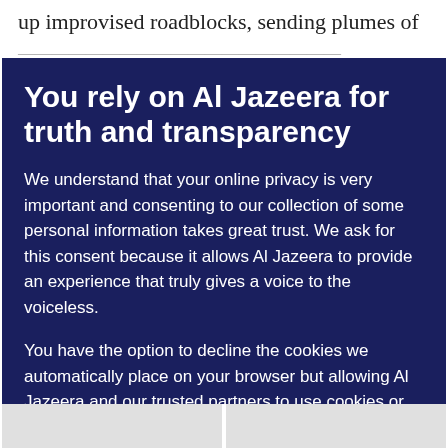up improvised roadblocks, sending plumes of
You rely on Al Jazeera for truth and transparency
We understand that your online privacy is very important and consenting to our collection of some personal information takes great trust. We ask for this consent because it allows Al Jazeera to provide an experience that truly gives a voice to the voiceless.
You have the option to decline the cookies we automatically place on your browser but allowing Al Jazeera and our trusted partners to use cookies or similar technologies helps us improve our content and offerings to you. You can change your privacy preferences at any time by selecting ‘Cookie preferences’ at the bottom of your screen. To learn more, please view our Cookie Policy.